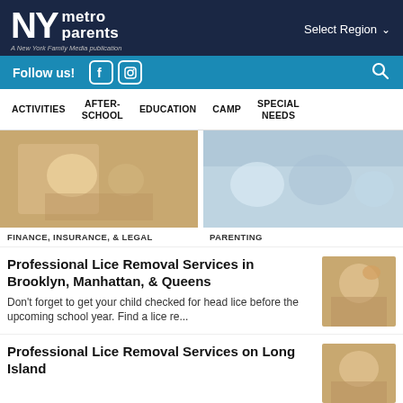NY metro parents — A New York Family Media publication
Follow us!
ACTIVITIES  AFTER-SCHOOL  EDUCATION  CAMP  SPECIAL NEEDS
[Figure (photo): Adult and child with piggy bank — Finance, Insurance, & Legal]
[Figure (photo): Family lying together smiling — Parenting]
FINANCE, INSURANCE, & LEGAL
PARENTING
Professional Lice Removal Services in Brooklyn, Manhattan, & Queens
Don't forget to get your child checked for head lice before the upcoming school year. Find a lice re...
[Figure (photo): Child scratching head — lice removal article thumbnail]
Professional Lice Removal Services on Long Island
[Figure (photo): Child scratching head — lice removal article thumbnail]